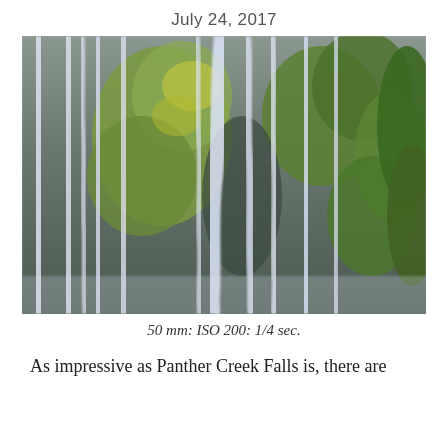July 24, 2017
[Figure (photo): Close-up photograph of Panther Creek Falls waterfall cascading over moss-covered rocky cliff face. White silky water streams over green and brown mossy rocks. Long exposure effect.]
50 mm: ISO 200: 1/4 sec.
As impressive as Panther Creek Falls is, there are